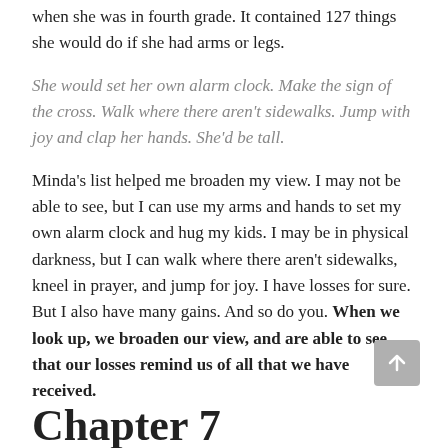when she was in fourth grade. It contained 127 things she would do if she had arms or legs.
She would set her own alarm clock. Make the sign of the cross. Walk where there aren't sidewalks. Jump with joy and clap her hands. She'd be tall.
Minda's list helped me broaden my view. I may not be able to see, but I can use my arms and hands to set my own alarm clock and hug my kids. I may be in physical darkness, but I can walk where there aren't sidewalks, kneel in prayer, and jump for joy. I have losses for sure. But I also have many gains. And so do you. When we look up, we broaden our view, and are able to see that our losses remind us of all that we have received.
Chapter 7